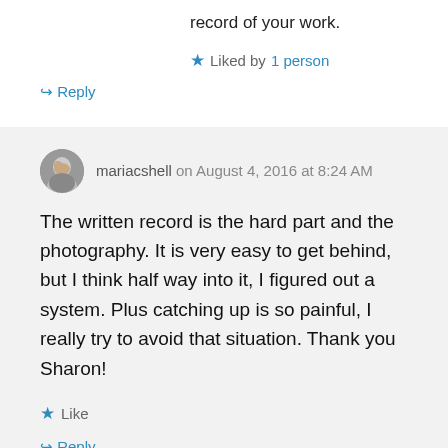record of your work.
★ Liked by 1 person
↪ Reply
mariacshell on August 4, 2016 at 8:24 AM
The written record is the hard part and the photography. It is very easy to get behind, but I think half way into it, I figured out a system. Plus catching up is so painful, I really try to avoid that situation. Thank you Sharon!
★ Like
↪ Reply